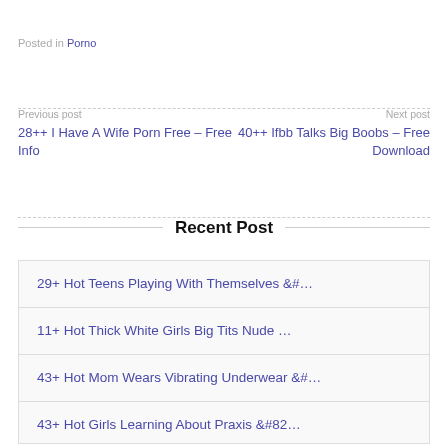Posted in Porno
Previous post
28++ I Have A Wife Porn Free – Free Info
Next post
40++ Ifbb Talks Big Boobs – Free Download
Recent Post
29+ Hot Teens Playing With Themselves &#...
11+ Hot Thick White Girls Big Tits Nude ...
43+ Hot Mom Wears Vibrating Underwear &#...
43+ Hot Girls Learning About Praxis &#82...